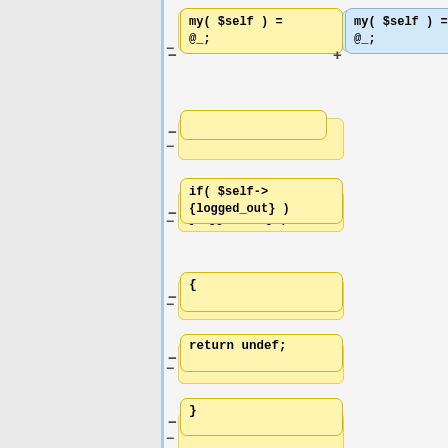[Figure (screenshot): Code diff view showing two columns: left (removed, yellow background) and right (added, blue background). Left column shows removed code blocks with minus markers, right column shows added code blocks with plus markers. Code snippets are Perl-like syntax including: my($self) = @_;, if($self->{logged_out}), {, return undef;, }, empty blocks, if(!defined $self->{current_user}), if($self->{offline}), {, if($self->get_archive->get_conf(. Both columns have rounded-rectangle styled blocks.]